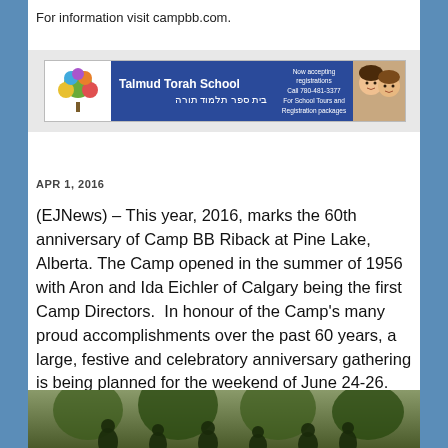For information visit campbb.com.
[Figure (other): Talmud Torah School advertisement banner. Blue background with tree logo on left, school name in English and Hebrew, contact info: Now accepting registrations, Call 780-481-3377, For School Tours and Registration packages. Photo of two smiling children on right.]
APR 1, 2016
(EJNews) – This year, 2016, marks the 60th anniversary of Camp BB Riback at Pine Lake, Alberta. The Camp opened in the summer of 1956 with Aron and Ida Eichler of Calgary being the first Camp Directors.  In honour of the Camp's many proud accomplishments over the past 60 years, a large, festive and celebratory anniversary gathering is being planned for the weekend of June 24-26. Everyone is invited to attend, whether or not they went to Camp.
[Figure (photo): Group photo of people outdoors with trees in background, partially visible at bottom of page.]